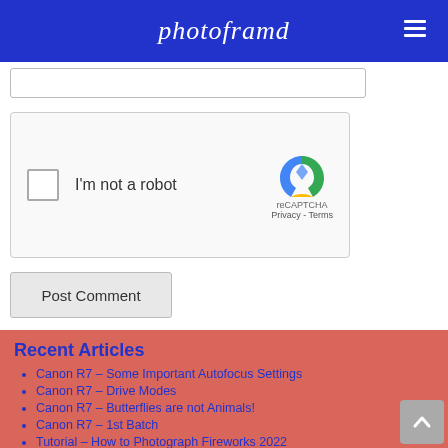photoframd
[Figure (screenshot): reCAPTCHA widget with checkbox labeled I'm not a robot]
Post Comment
Recent Articles
Canon R7 – Some Important Autofocus Settings
Canon R7 – Drive Modes
Canon R7 – Butterflies are not Animals!
Canon R7 – 1st Batch
Tutorial – How to Photograph Fireworks 2022
Ospreys on Long Island
Osprey Season has begun!